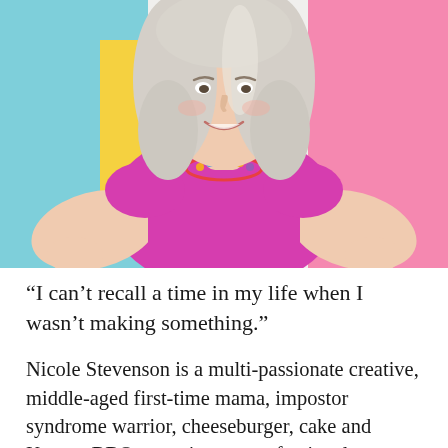[Figure (photo): A smiling woman with silver-blonde hair wearing a bright magenta/fuchsia short-sleeve top and a colorful beaded necklace, standing with hands on hips against a colorful background with sections of light blue, yellow, and pink.]
“I can’t recall a time in my life when I wasn’t making something.”
Nicole Stevenson is a multi-passionate creative, middle-aged first-time mama, impostor syndrome warrior, cheeseburger, cake and Korean BBQ connoisseur, confessional journaler,